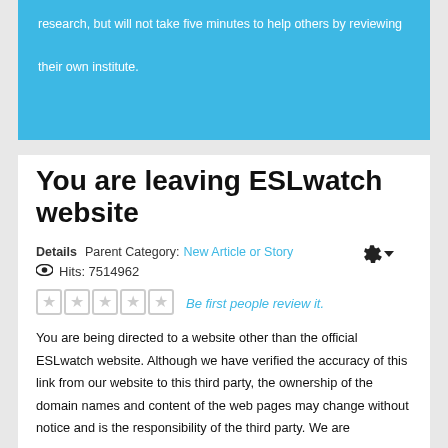research, but will not take five minutes to help others by reviewing their own institute.
You are leaving ESLwatch website
Details   Parent Category: New Article or Story   Hits: 7514962
Be first people review it.
You are being directed to a website other than the official ESLwatch website. Although we have verified the accuracy of this link from our website to this third party, the ownership of the domain names and content of the web pages may change without notice and is the responsibility of the third party. We are